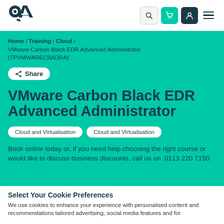[Figure (logo): QA logo — stylized Q and A letters in dark teal]
[Figure (infographic): Navigation bar icons: search, shopping cart (teal), user profile (dark), hamburger menu]
Home / Training / Cloud / VMware Carbon Black EDR Advanced Administrator (TPVMWARECBADRA)
Share
VMware Carbon Black EDR Advanced Administrator
Cloud and Virtualisation  Cloud and Virtualisation
Book online today or, if you need help choosing the right course or would like to discuss business discounts, call us on  0113 220 7150.
Select Your Cookie Preferences
We use cookies to enhance your experience with personalised content and recommendations tailored advertising, social media features and for